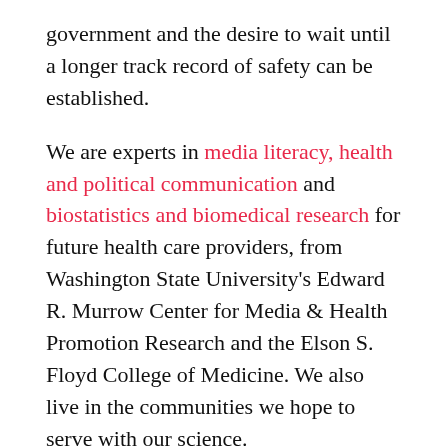government and the desire to wait until a longer track record of safety can be established.
We are experts in media literacy, health and political communication and biostatistics and biomedical research for future health care providers, from Washington State University's Edward R. Murrow Center for Media & Health Promotion Research and the Elson S. Floyd College of Medicine. We also live in the communities we hope to serve with our science.
Based on our research, we believe that officials need to use this testing period to build